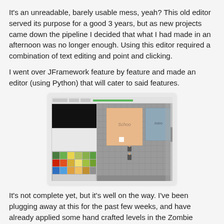It's an unreadable, barely usable mess, yeah? This old editor served its purpose for a good 3 years, but as new projects came down the pipeline I decided that what I had made in an afternoon was no longer enough. Using this editor required a combination of text editing and point and clicking.
I went over JFramework feature by feature and made an editor (using Python) that will cater to said features.
[Figure (screenshot): Screenshot of a game level editor (using Python) showing a top-down RPG-style map with grey tiled road areas, a large peach/tan colored building labeled 'Schao', a blue-grey building labeled 'Intro', a black panel on the top-left, a small character sprite on the road, and a colorful tile palette panel on the lower-left.]
It's not complete yet, but it's well on the way. I've been plugging away at this for the past few weeks, and have already applied some hand crafted levels in the Zombie game.